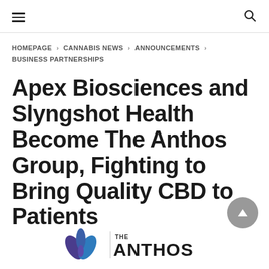≡  🔍
HOMEPAGE › CANNABIS NEWS › ANNOUNCEMENTS › BUSINESS PARTNERSHIPS
Apex Biosciences and Slyngshot Health Become The Anthos Group, Fighting to Bring Quality CBD to Patients
[Figure (logo): The Anthos Group logo — stylized flower/leaf icon on the left with 'THE ANTHOS' text partially visible]